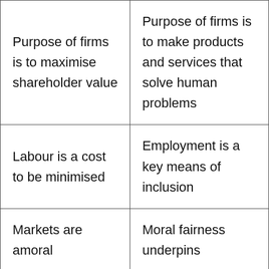| Purpose of firms is to maximise shareholder value | Purpose of firms is to make products and services that solve human problems |
| Labour is a cost to be minimised | Employment is a key means of inclusion |
| Markets are amoral | Moral fairness underpins |